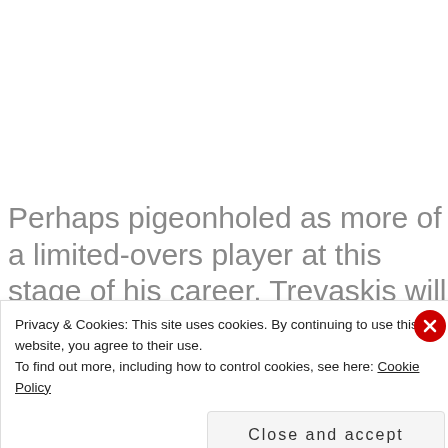Perhaps pigeonholed as more of a limited-overs player at this stage of his career, Trevaskis will no doubt look for more openings in the longer format as the
Privacy & Cookies: This site uses cookies. By continuing to use this website, you agree to their use.
To find out more, including how to control cookies, see here: Cookie Policy
Close and accept